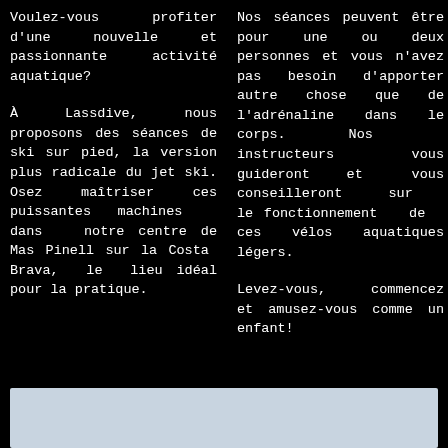Voulez-vous profiter d'une nouvelle et passionnante activité aquatique?
À Lassdive, nous proposons des séances de ski sur pied, la version plus radicale du jet ski. Osez maîtriser ces puissantes machines dans notre centre de Mas Pinell sur la Costa Brava, le lieu idéal pour la pratique.
Nos séances peuvent être pour une ou deux personnes et vous n'avez pas besoin d'apporter autre chose que de l'adrénaline dans le corps. Nos instructeurs vous guideront et vous conseilleront sur le fonctionnement de ces vélos aquatiques légers.
Levez-vous, commencez et amusez-vous comme un enfant!
[Figure (photo): Light blue/grey image bar at the bottom of the page, partially cropped]